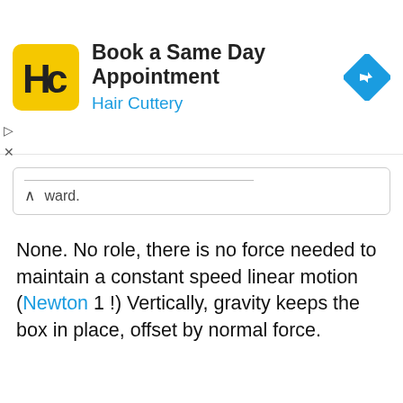[Figure (logo): Hair Cuttery advertisement banner with HC logo on yellow background, 'Book a Same Day Appointment' heading, 'Hair Cuttery' subheading in blue, and a navigation/directions icon on the right]
ward.
None. No role, there is no force needed to maintain a constant speed linear motion (Newton 1 !) Vertically, gravity keeps the box in place, offset by normal force.
late347 said: ↑
What direction is static friction of the box, if the movement of the truck goes from left --> right. I guess static friction resists the motion.
Uniform motion no net force. If there are no other horizontal forces, the friction force is